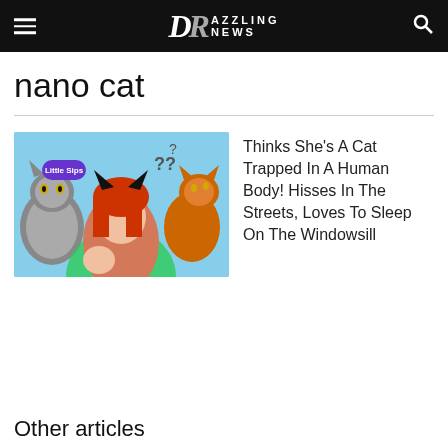Dazzling News
nano cat
[Figure (photo): Thumbnail image showing a woman with red hair and cat ears flanked by two cats on a light blue background with question mark thought bubbles]
Thinks She's A Cat Trapped In A Human Body! Hisses In The Streets, Loves To Sleep On The Windowsill
Other articles